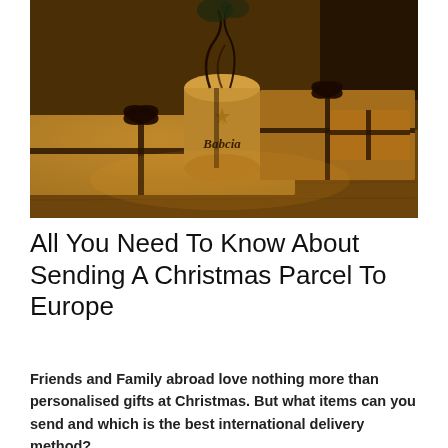[Figure (photo): A warm golden-toned photograph of Christmas presents wrapped in brown kraft paper with dark ribbons and bows, arranged on a wooden surface. A central cylindrical gift is labeled 'Babcia' with star decorations.]
All You Need To Know About Sending A Christmas Parcel To Europe
Friends and Family abroad love nothing more than personalised gifts at Christmas. But what items can you send and which is the best international delivery method?